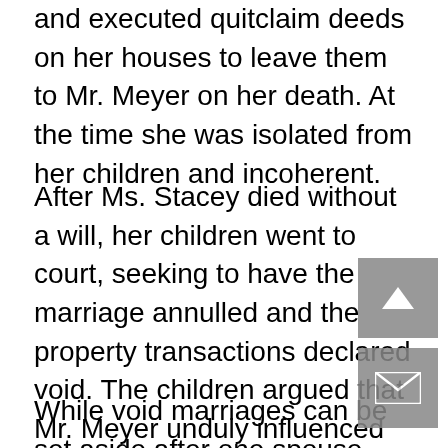and executed quitclaim deeds on her houses to leave them to Mr. Meyer on her death. At the time she was isolated from her children and incoherent.
After Ms. Stacey died without a will, her children went to court, seeking to have the marriage annulled and the property transactions declared void. The children argued that Mr. Meyer unduly influenced Ms. Stacey and that she lacked the mental capacity to make the transactions due to her illness. The Nebraska Supreme Court ruled that the marriage was void because Ms. Stacey was not mentally competent to enter into it. The court set aside the marriage and the financial transactions.
While void marriages can be set aside after one spouse dies, “voidable” marriages cannot. A